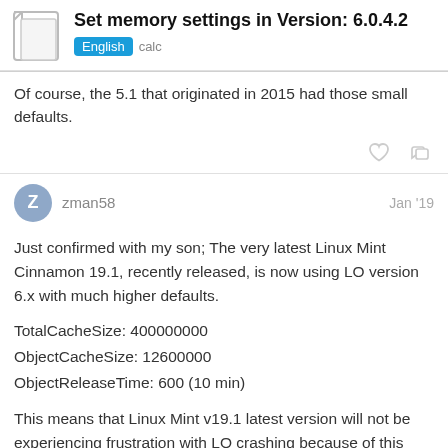Set memory settings in Version: 6.0.4.2
English  calc
Of course, the 5.1 that originated in 2015 had those small defaults.
zman58  Jan '19
Just confirmed with my son; The very latest Linux Mint Cinnamon 19.1, recently released, is now using LO version 6.x with much higher defaults.

TotalCacheSize: 400000000
ObjectCacheSize: 12600000
ObjectReleaseTime: 600 (10 min)

This means that Linux Mint v19.1 latest version will not be experiencing frustration with LO crashing because of this problem. Probably the same for the latest Ubuntu desktop since Linux Mint is based on that. Good news